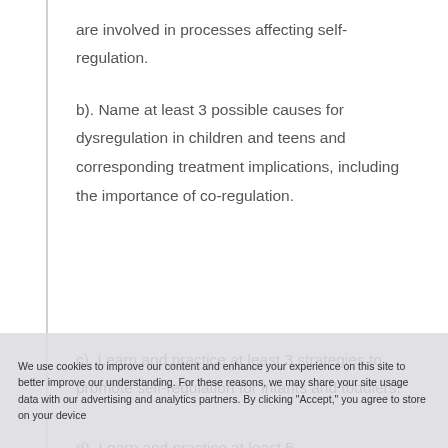are involved in processes affecting self-regulation.
b). Name at least 3 possible causes for dysregulation in children and teens and corresponding treatment implications, including the importance of co-regulation.
c). Learn and practice at least 3 strategies to promote self-regulation for infants and toddlers.
d). Learn and practice at least 5